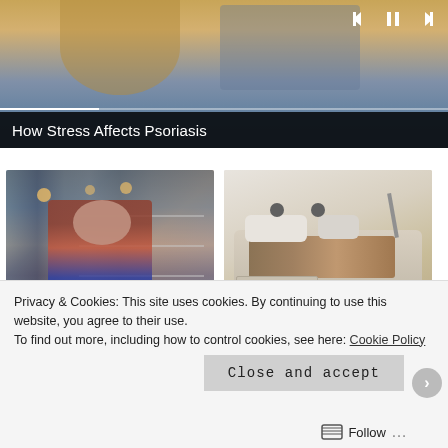[Figure (screenshot): Video player showing 'How Stress Affects Psoriasis' with playback controls and progress bar]
How Stress Affects Psoriasis
[Figure (photo): Woman crouching in supermarket aisle reading product label]
[Figure (photo): Smart bed with multiple features including speakers and storage drawers]
Sizing Up Your...
The Best Smart Beds in...
Privacy & Cookies: This site uses cookies. By continuing to use this website, you agree to their use.
To find out more, including how to control cookies, see here: Cookie Policy
Close and accept